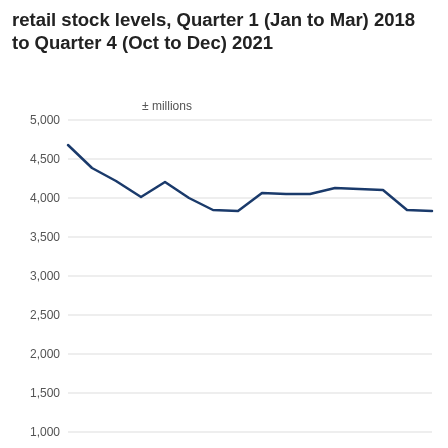retail stock levels, Quarter 1 (Jan to Mar) 2018 to Quarter 4 (Oct to Dec) 2021
[Figure (line-chart): retail stock levels, Quarter 1 (Jan to Mar) 2018 to Quarter 4 (Oct to Dec) 2021]